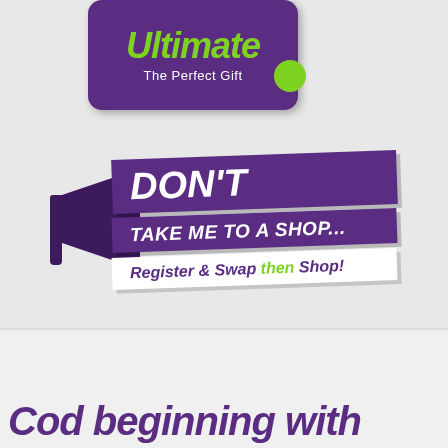[Figure (illustration): Purple rounded gift card with 'Ultimate' text in green italic and subtitle 'The Perfect Gift' in white, with a green dot at bottom right]
[Figure (infographic): Promotional infographic with a dark purple megaphone icon and banner text reading 'DON'T TAKE ME TO A SHOP... Register & Swap then Shop!' on purple and white angled banners]
Cod beginning with...